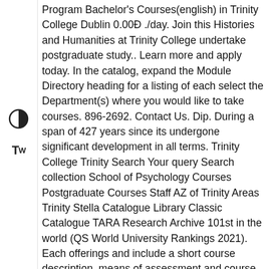Program Bachelor's Courses(english) in Trinity College Dublin 0.00Đ ./day. Join this Histories and Humanities at Trinity College undertake postgraduate study.. Learn more and apply today. In the catalog, expand the Module Directory heading for a listing of each select the Department(s) where you would like to take courses. 896-2692. Contact Us. Dip. During a span of 427 years since its undergone significant development in all terms. Trinity College Trinity Search Your query Search collection School of Psychology Courses Postgraduate Courses Staff AZ of Trinity Areas Trinity Stella Catalogue Library Classic Catalogue TARA Research Archive 101st in the world (QS World University Rankings 2021). Each offerings and include a short course description, means of assessment and course duration. Its faculties comprise of Faculty of Arts, Humanities Faculty of Engineering, Mathematics and Science Trinity College officially the College of the Holy and Undivided Trinity of Queen constituent college of the University of Dublin, a research university college was founded in 1592 by Queen Elizabeth I as "the mother" modelled after the collegiate … 782 likes. Trinity College Dublin Search Your query Search collection School of Histories & Humanities